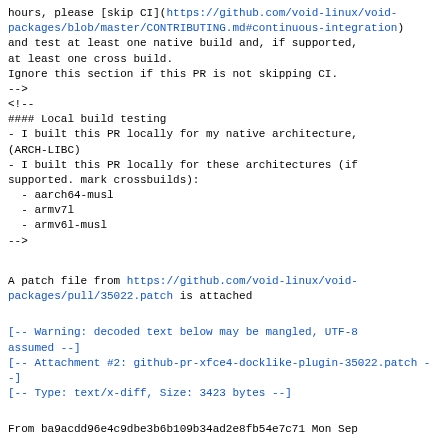hours, please [skip CI](https://github.com/void-linux/void-packages/blob/master/CONTRIBUTING.md#continuous-integration)
and test at least one native build and, if supported,
at least one cross build.
Ignore this section if this PR is not skipping CI.
-->
<!--
#### Local build testing
- I built this PR locally for my native architecture,
(ARCH-LIBC)
- I built this PR locally for these architectures (if
supported. mark crossbuilds):
  - aarch64-musl
  - armv7l
  - armv6l-musl
-->
A patch file from https://github.com/void-linux/void-packages/pull/35022.patch is attached
[-- Warning: decoded text below may be mangled, UTF-8 assumed --]
[-- Attachment #2: github-pr-xfce4-docklike-plugin-35022.patch --]
[-- Type: text/x-diff, Size: 3423 bytes --]
From ba9acdd96e4c9dbe3b6b109b34ad2e8fb54e7c71 Mon Sep